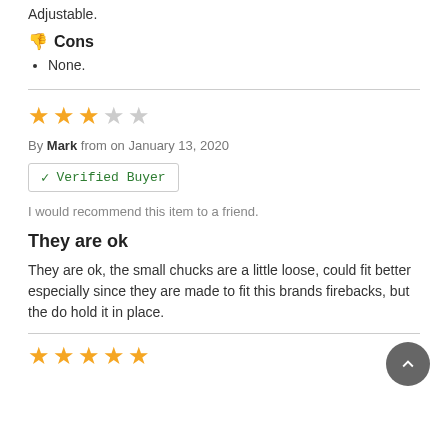Adjustable.
Cons
None.
[Figure (other): 3 out of 5 stars rating (3 filled stars, 2 empty stars)]
By Mark from on January 13, 2020
✓ Verified Buyer
I would recommend this item to a friend.
They are ok
They are ok, the small chucks are a little loose, could fit better especially since they are made to fit this brands firebacks, but the do hold it in place.
[Figure (other): 5 filled gold stars rating at the bottom]